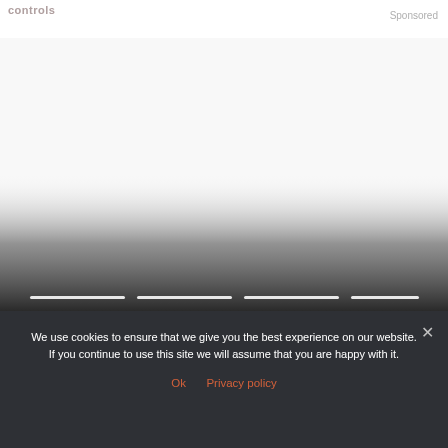controls
Sponsored
[Figure (photo): Advertisement image area with gradient overlay fading to dark at the bottom, with four white slider indicator bars at the bottom center]
We use cookies to ensure that we give you the best experience on our website. If you continue to use this site we will assume that you are happy with it.
Ok   Privacy policy